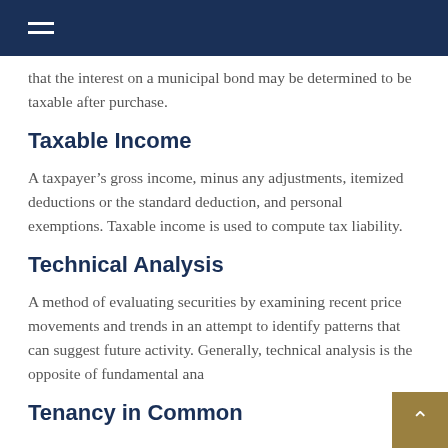that the interest on a municipal bond may be determined to be taxable after purchase.
Taxable Income
A taxpayer’s gross income, minus any adjustments, itemized deductions or the standard deduction, and personal exemptions. Taxable income is used to compute tax liability.
Technical Analysis
A method of evaluating securities by examining recent price movements and trends in an attempt to identify patterns that can suggest future activity. Generally, technical analysis is the opposite of fundamental ana
Tenancy in Common